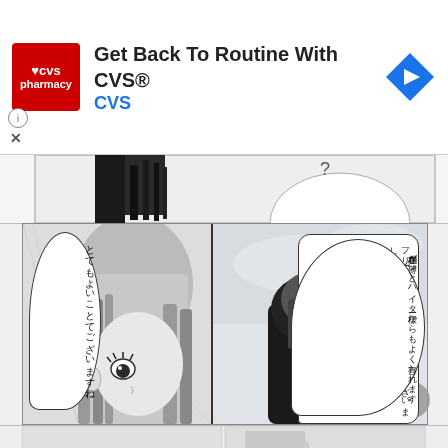[Figure (screenshot): CVS Pharmacy advertisement banner with red logo, text 'Get Back To Routine With CVS®' and 'CVS' in blue, and a blue navigation arrow icon on the right. Info (i) and X close buttons in lower left.]
[Figure (illustration): Manga (Japanese comic) page screenshot showing two panels. Left panel: close-up of a female character's face with long light hair, with a speech bubble containing Japanese text reading とてもよいことてございますね。 Right panel: back view of a dark-haired character in dark clothes, with two speech bubbles containing Japanese text: フリーレン様でも私を見つけるのが大変てございましたか。and 存在感が薄いとハイター様からもよく言われます。]